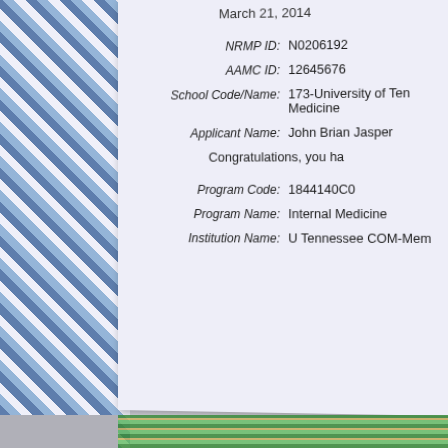March 21, 2014
NRMP ID:  N0206192
AAMC ID:  12645676
School Code/Name:  173-University of Tennessee College of Medicine
Applicant Name:  John Brian Jasper
Congratulations, you ha...
Program Code:  1844140C0
Program Name:  Internal Medicine
Institution Name:  U Tennessee COM-Mem...